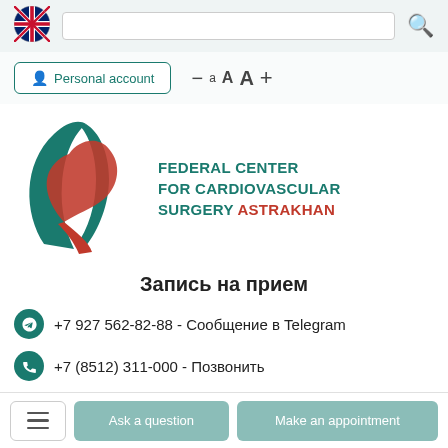[Figure (logo): UK flag icon in top-left corner of navigation bar]
[Figure (logo): Federal Center for Cardiovascular Surgery Astrakhan logo - stylized A-shape in teal and red with text]
Запись на прием
+7 927 562-82-88 - Сообщение в Telegram
+7 (8512) 311-000 - Позвонить
Personal account
Ask a question
Make an appointment